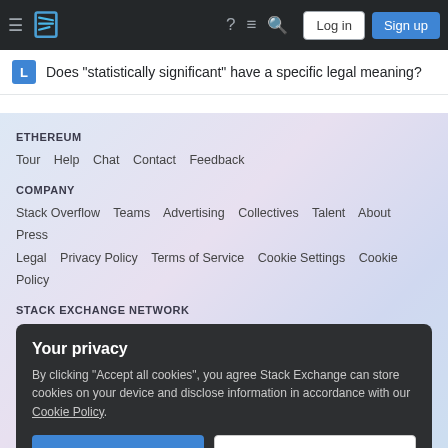Stack Exchange navigation bar with hamburger menu, logo, help, chat, search icons, Log in and Sign up buttons
Does "statistically significant" have a specific legal meaning?
ETHEREUM
Tour  Help  Chat  Contact  Feedback
COMPANY
Stack Overflow  Teams  Advertising  Collectives  Talent  About  Press  Legal  Privacy Policy  Terms of Service  Cookie Settings  Cookie Policy
STACK EXCHANGE NETWORK
Your privacy
By clicking "Accept all cookies", you agree Stack Exchange can store cookies on your device and disclose information in accordance with our Cookie Policy.
Accept all cookies  Customize settings